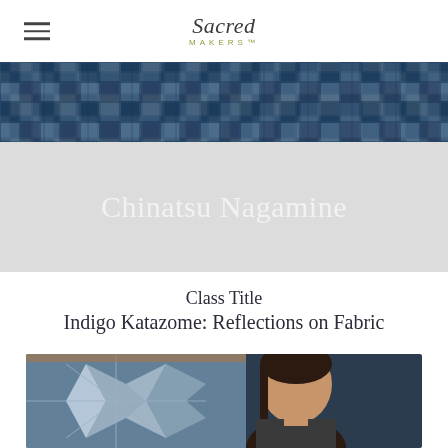Sacred Makers
[Figure (photo): Banner photo of indigo-dyed patchwork fabric in shades of blue and grey]
Chinatsu Nagamine
Class Title
Indigo Katazome: Reflections on Fabric
[Figure (photo): Portrait of Chinatsu Nagamine in front of an indigo katazome textile with geometric diamond pattern]